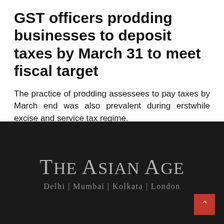GST officers prodding businesses to deposit taxes by March 31 to meet fiscal target
The practice of prodding assessees to pay taxes by March end was also prevalent during erstwhile excise and service tax regime.
31 Mar 2019 2:00 PM
[Figure (logo): The Asian Age newspaper logo with tagline Delhi | Mumbai | Kolkata | London on dark background]